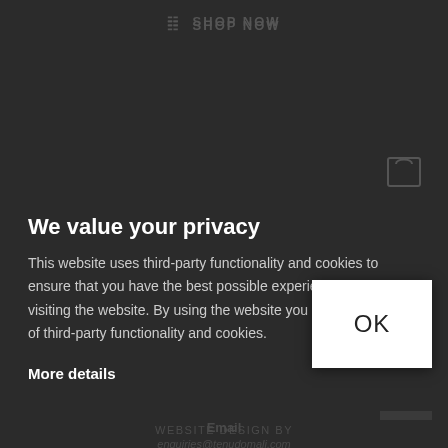SHOP NOW
We value your privacy
This website uses third-party functionality and cookies to ensure that you have the best possible experience when visiting the website. By using the website you agree to our use of third-party functionality and cookies.
More details
[Figure (screenshot): OK button — white rectangular button with 'OK' text in dark color, positioned at bottom right of the privacy overlay dialog]